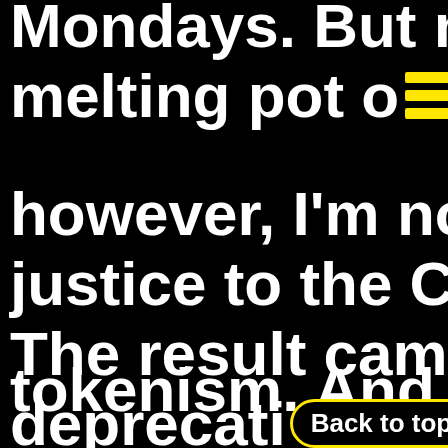Mondays. But more...
melting pot of [menu icon] u
however, I'm not su
justice to the Chine
The result came ac
tokenism. And a bit
deprecati [Back to top] n